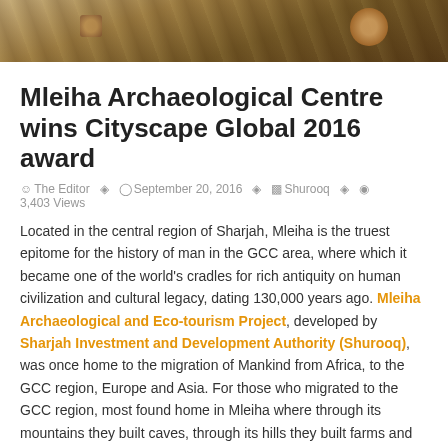[Figure (photo): Banner photo of archaeological artifacts/museum display, warm brown tones]
Mleiha Archaeological Centre wins Cityscape Global 2016 award
The Editor  September 20, 2016  Shurooq  3,403 Views
Located in the central region of Sharjah, Mleiha is the truest epitome for the history of man in the GCC area, where which it became one of the world's cradles for rich antiquity on human civilization and cultural legacy, dating 130,000 years ago. Mleiha Archaeological and Eco-tourism Project, developed by Sharjah Investment and Development Authority (Shurooq), was once home to the migration of Mankind from Africa, to the GCC region, Europe and Asia. For those who migrated to the GCC region, most found home in Mleiha where through its mountains they built caves, through its hills they built farms and through its meadows they built homes and palaces.
As time passed by, with the dynamic environment and climate changes, the civilization grew and many came to know about its importance and ...